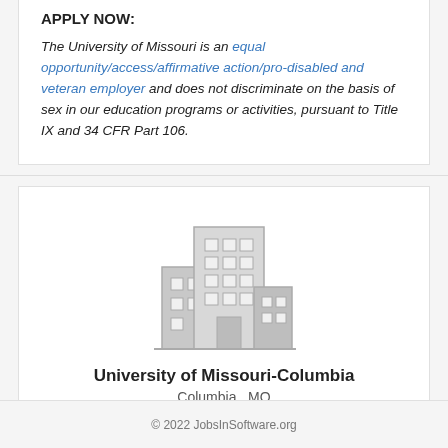APPLY NOW:
The University of Missouri is an equal opportunity/access/affirmative action/pro-disabled and veteran employer and does not discriminate on the basis of sex in our education programs or activities, pursuant to Title IX and 34 CFR Part 106.
[Figure (illustration): Gray icon of a multi-story office/university building]
University of Missouri-Columbia
Columbia , MO
© 2022 JobsInSoftware.org